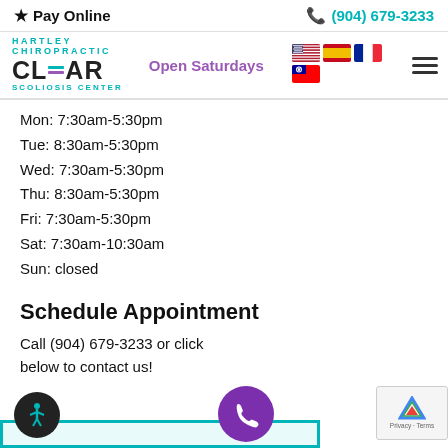★ Pay Online    ☎ (904) 679-3233
[Figure (logo): Hartley Chiropractic CLEAR Scoliosis Center logo with teal and purple colors, Open Saturdays text in purple, flag icons (US, Spain, France, Taiwan), hamburger menu icon]
Mon: 7:30am-5:30pm
Tue: 8:30am-5:30pm
Wed: 7:30am-5:30pm
Thu: 8:30am-5:30pm
Fri: 7:30am-5:30pm
Sat: 7:30am-10:30am
Sun: closed
Schedule Appointment
Call (904) 679-3233 or click below to contact us!